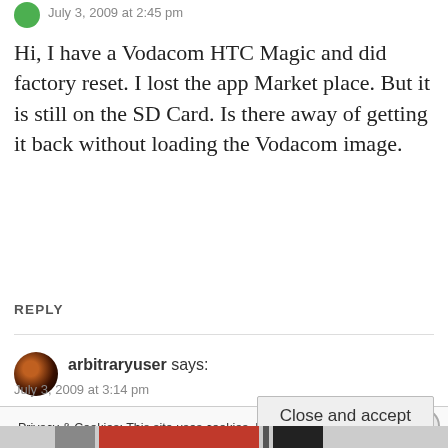July 3, 2009 at 2:45 pm
Hi, I have a Vodacom HTC Magic and did factory reset. I lost the app Market place. But it is still on the SD Card. Is there away of getting it back without loading the Vodacom image.
REPLY
arbitraryuser says:
July 3, 2009 at 3:14 pm
Privacy & Cookies: This site uses cookies. By continuing to use this website, you agree to their use.
To find out more, including how to control cookies, see here: Cookie Policy
Close and accept